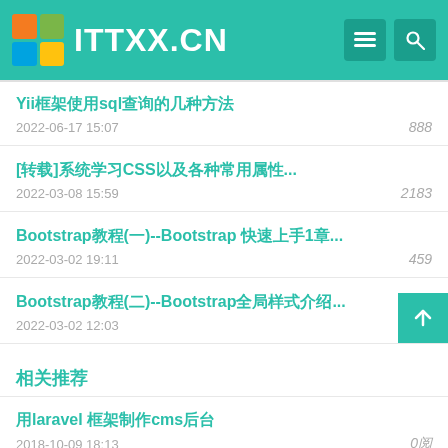ITTXX.CN
Yii框架使用sql查询的几种方法
[转载]系统学习CSS以及各种常用属性...
Bootstrap教程(一)--Bootstrap 快速上手1章...
Bootstrap教程(二)--Bootstrap全局样式介绍...
相关推荐
用laravel 框架制作cms后台